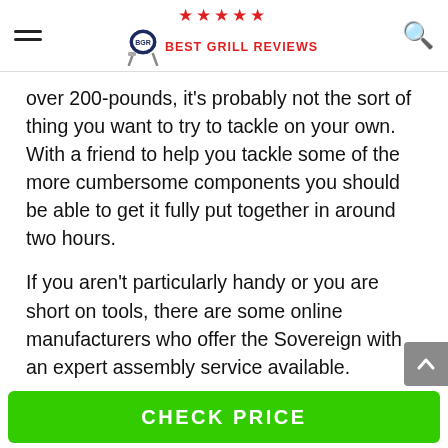BEST GRILL REVIEWS
over 200-pounds, it’s probably not the sort of thing you want to try to tackle on your own. With a friend to help you tackle some of the more cumbersome components you should be able to get it fully put together in around two hours.
If you aren’t particularly handy or you are short on tools, there are some online manufacturers who offer the Sovereign with an expert assembly service available.
Just pay special attention to the folding side table
CHECK PRICE